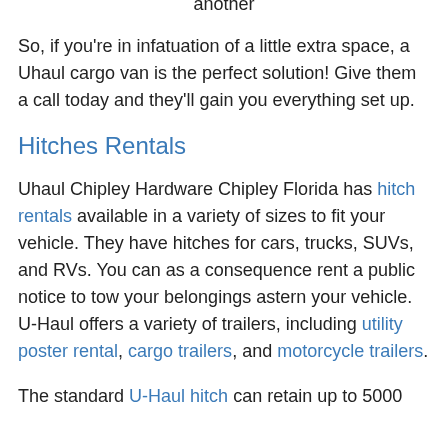another
So, if you're in infatuation of a little extra space, a Uhaul cargo van is the perfect solution! Give them a call today and they'll gain you everything set up.
Hitches Rentals
Uhaul Chipley Hardware Chipley Florida has hitch rentals available in a variety of sizes to fit your vehicle. They have hitches for cars, trucks, SUVs, and RVs. You can as a consequence rent a public notice to tow your belongings astern your vehicle. U-Haul offers a variety of trailers, including utility poster rental, cargo trailers, and motorcycle trailers.
The standard U-Haul hitch can retain up to 5000